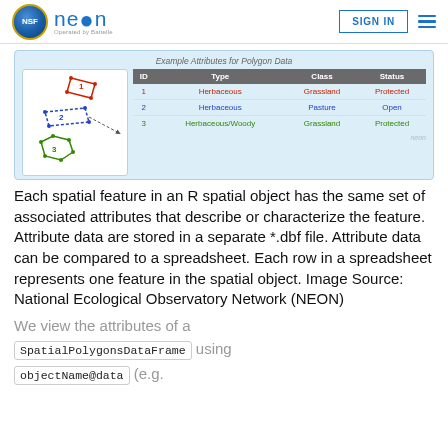NEON | SIGN IN
[Figure (illustration): Diagram showing three polygons labeled 1, 2, 3 connected to an attribute table titled 'Example Attributes for Polygon Data' with columns ID, Type, Class, Status and rows for three herbaceous polygon features.]
Each spatial feature in an R spatial object has the same set of associated attributes that describe or characterize the feature. Attribute data are stored in a separate *.dbf file. Attribute data can be compared to a spreadsheet. Each row in a spreadsheet represents one feature in the spatial object. Image Source: National Ecological Observatory Network (NEON)
We view the attributes of a
SpatialPolygonsDataFrame using
objectName@data (e.g.